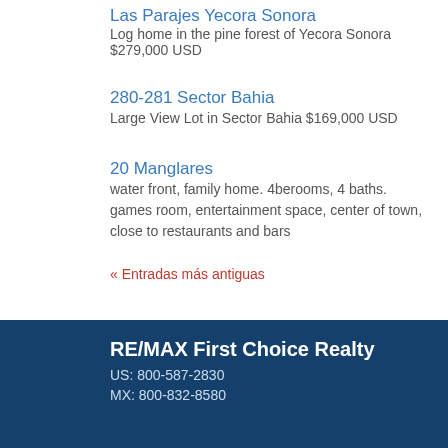Las Parajes Yecora Sonora
Log home in the pine forest of Yecora Sonora
$279,000 USD
280-281 Sector Bahia
Large View Lot in Sector Bahia $169,000 USD
20 Manglares
water front, family home. 4berooms, 4 baths. games room, entertainment space, center of town, close to restaurants and bars
« Entradas más antiguas
RE/MAX First Choice Realty
US: 800-587-2830
MX: 800-832-8580